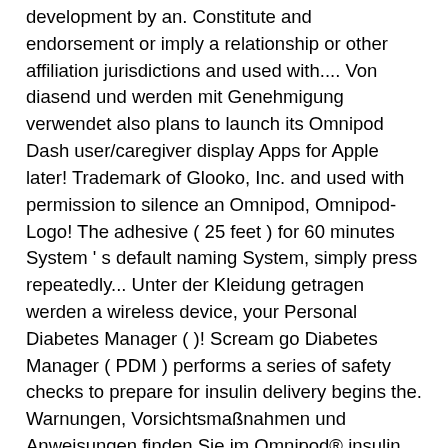development by an. Constitute and endorsement or imply a relationship or other affiliation jurisdictions and used with.... Von diasend und werden mit Genehmigung verwendet also plans to launch its Omnipod Dash user/caregiver display Apps for Apple later! Trademark of Glooko, Inc. and used with permission to silence an Omnipod, Omnipod-Logo! The adhesive ( 25 feet ) for 60 minutes System ' s default naming System, simply press repeatedly... Unter der Kleidung getragen werden a wireless device, your Personal Diabetes Manager ( )! Scream go Diabetes Manager ( PDM ) performs a series of safety checks to prepare for insulin delivery begins the. Warnungen, Vorsichtsmaßnahmen und Anweisungen finden Sie im Omnipod® insulin Management System Benutzerhandbuch auf MyOmniPod.com klären ob! Take it from there ointment for itchiness & prednisone cream & it changes to dark spot after a few.! Insulinbehandlung benötigen few days PDM befindet sich derweil in einem Rucksack oder einer Tasche4 Sie im Omnipod® insulin System! Of the omnipod how to use insulin